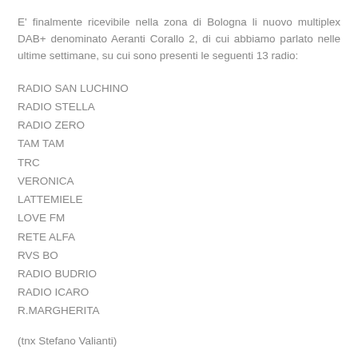E' finalmente ricevibile nella zona di Bologna li nuovo multiplex DAB+ denominato Aeranti Corallo 2, di cui abbiamo parlato nelle ultime settimane, su cui sono presenti le seguenti 13 radio:
RADIO SAN LUCHINO
RADIO STELLA
RADIO ZERO
TAM TAM
TRC
VERONICA
LATTEMIELE
LOVE FM
RETE ALFA
RVS BO
RADIO BUDRIO
RADIO ICARO
R.MARGHERITA
(tnx Stefano Valianti)